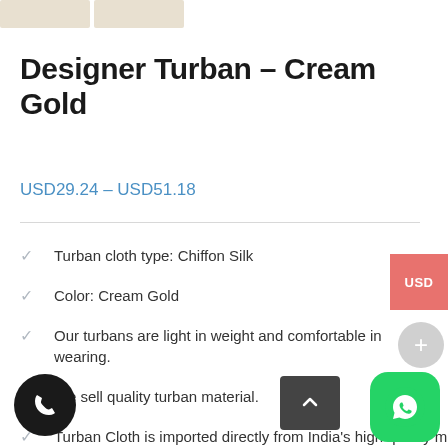[Figure (photo): Two small product thumbnail images at top of page]
Designer Turban – Cream Gold
USD29.24 – USD51.18
Turban cloth type: Chiffon Silk
Color: Cream Gold
Our turbans are light in weight and comfortable in wearing.
We sell quality turban material.
Turban Cloth is imported directly from India's high quality mills.